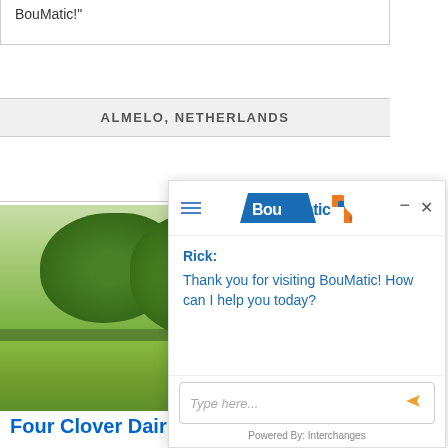BouMatic!"
ALMELO, NETHERLANDS
[Figure (photo): Outdoor photo showing trees, green grass, a sign post, and a building in the background — farm or dairy facility exterior]
Four Clover Dair
Egbert and Tineke va operate Four Clover Da
[Figure (screenshot): BouMatic website chat widget overlay showing hamburger menu, BouMatic logo, minimize and close buttons, a chat message from Rick saying 'Thank you for visiting BouMatic! How can I help you today?', a text input field with placeholder 'Type here...', a send button, and footer 'Powered By: Interchanges']